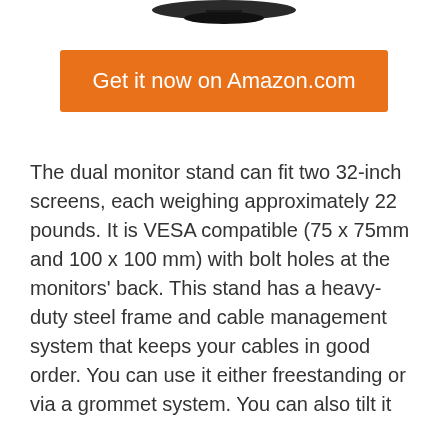[Figure (photo): Partial image of a dual monitor stand product, showing the base/bottom portion against a white background]
Get it now on Amazon.com
The dual monitor stand can fit two 32-inch screens, each weighing approximately 22 pounds. It is VESA compatible (75 x 75mm and 100 x 100 mm) with bolt holes at the monitors' back. This stand has a heavy-duty steel frame and cable management system that keeps your cables in good order. You can use it either freestanding or via a grommet system. You can also tilt it